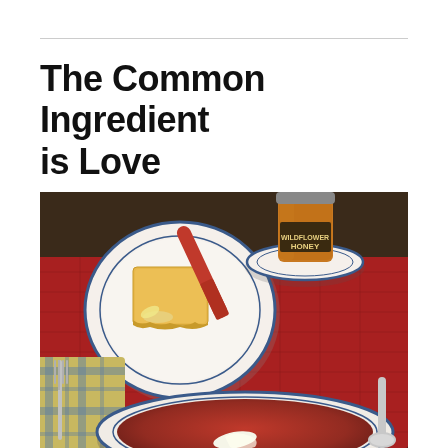The Common Ingredient is Love
[Figure (photo): Overhead view of a home-cooked meal on a dark wooden table with a red quilted placemat. On the left is a white plate with blue rim containing a square piece of cornbread and a red silicone spatula with butter on it. In the upper right is a white saucer with a jar of wildflower honey. In the lower center is a large white bowl with blue rim containing tomato soup with a dollop of cream. A plaid napkin with a fork is visible on the lower left, and a spoon on the lower right.]